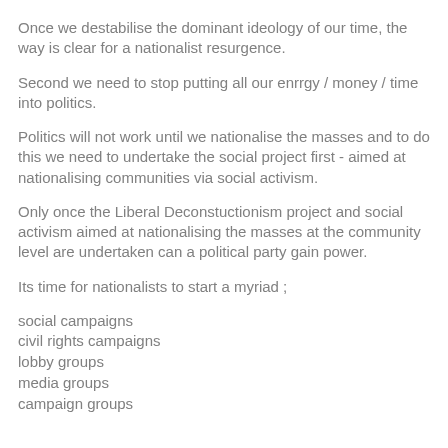Once we destabilise the dominant ideology of our time, the way is clear for a nationalist resurgence.
Second we need to stop putting all our enrrgy / money / time into politics.
Politics will not work until we nationalise the masses and to do this we need to undertake the social project first - aimed at nationalising communities via social activism.
Only once the Liberal Deconstuctionism project and social activism aimed at nationalising the masses at the community level are undertaken can a political party gain power.
Its time for nationalists to start a myriad ;
social campaigns
civil rights campaigns
lobby groups
media groups
campaign groups